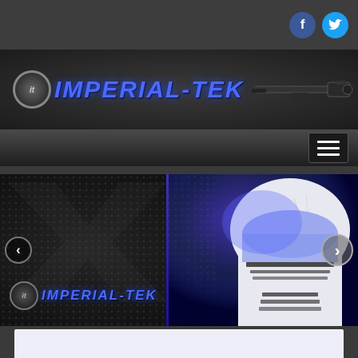[Figure (screenshot): Top bar with social media icons (Facebook and Twitter) on the right side against a dark gray background]
[Figure (logo): Imperial-Tek logo with metallic blue italic text, circular IT emblem, and a blaster/rifle graphic on dark textured background]
[Figure (screenshot): Dark navigation bar with hamburger menu icon on the right]
[Figure (photo): Hero slider image showing a Star Wars Stormtrooper helmet with blue LED lighting effect on the right side, Imperial-Tek logo watermark and secondary logo overlay on the left, with left and right navigation arrows]